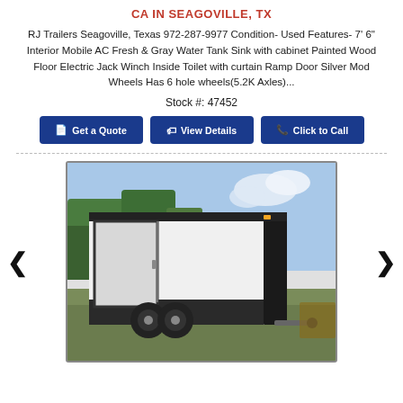CA IN SEAGOVILLE, TX
RJ Trailers Seagoville, Texas 972-287-9977 Condition- Used Features- 7' 6" Interior Mobile AC Fresh & Gray Water Tank Sink with cabinet Painted Wood Floor Electric Jack Winch Inside Toilet with curtain Ramp Door Silver Mod Wheels Has 6 hole wheels(5.2K Axles)...
Stock #: 47452
[Figure (screenshot): Three dark blue buttons: 'Get a Quote', 'View Details', 'Click to Call']
[Figure (photo): Photo of a white enclosed cargo trailer with black trim, double rear ramp door, and dual axle wheels, parked outdoors with trees in background. Navigation arrows on left and right.]